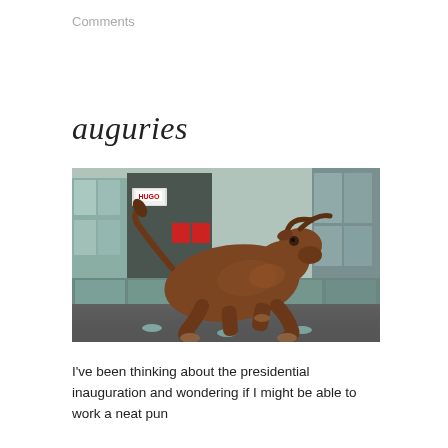Comments
auguries
[Figure (photo): A large bronze bull sculpture in a crouching/charging pose, photographed in an urban plaza with glass-fronted commercial buildings in the background. The sculpture has a highly polished brown surface and lit circular ground lights around its base.]
I've been thinking about the presidential inauguration and wondering if I might be able to work a neat pun